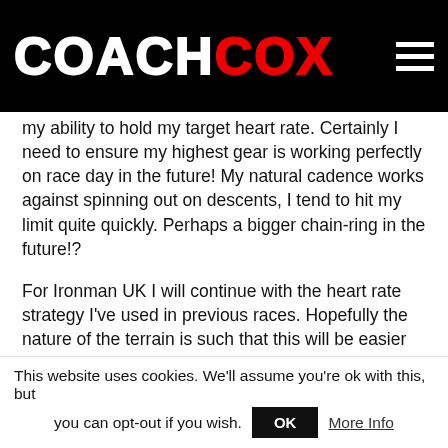COACH COX
my ability to hold my target heart rate. Certainly I need to ensure my highest gear is working perfectly on race day in the future! My natural cadence works against spinning out on descents, I tend to hit my limit quite quickly. Perhaps a bigger chain-ring in the future!?
For Ironman UK I will continue with the heart rate strategy I've used in previous races. Hopefully the nature of the terrain is such that this will be easier than in Roth. My view is that whilst having to work harder and maintain a higher average wattage likely means a slower bike time it should mean a higher bike position. Not being able to reach your target zones will certainly have reduced my relative position.
This website uses cookies. We'll assume you're ok with this, but you can opt-out if you wish.